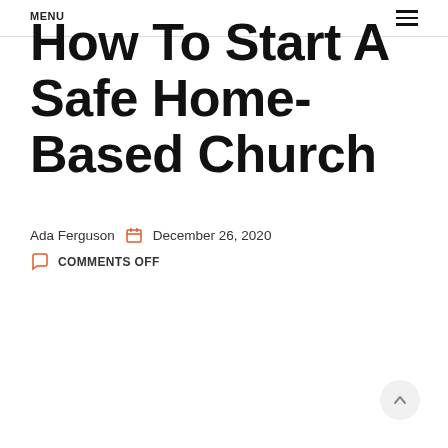MENU
How To Start A Safe Home-Based Church
Ada Ferguson   December 26, 2020
COMMENTS OFF